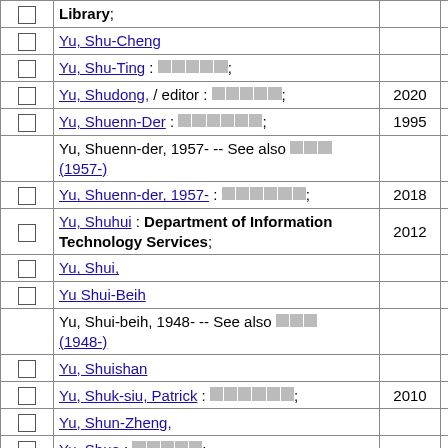|  | Name | Year | Count |
| --- | --- | --- | --- |
| ☐ | Library; |  | 1 |
| ☐ | Yu, Shu-Cheng |  | 2 |
| ☐ | Yu, Shu-Ting : ■■■■■; |  | 1 |
| ☐ | Yu, Shudong, / editor : ■■■■■; | 2020 | 1 |
| ☐ | Yu, Shuenn-Der : ■■■■■■; | 1995 | 1 |
|  | Yu, Shuenn-der, 1957- -- See also ■■■ (1957-) |  | 1 |
| ☐ | Yu, Shuenn-der, 1957- : ■■■■■■; | 2018 | 1 |
| ☐ | Yu, Shuhui : Department of Information Technology Services; | 2012 | 1 |
| ☐ | Yu, Shui, |  | 7 |
| ☐ | Yu Shui-Beih |  | 33 |
|  | Yu, Shui-beih, 1948- -- See also ■■■ (1948-) |  | 1 |
| ☐ | Yu, Shuishan |  | 3 |
| ☐ | Yu, Shuk-siu, Patrick : ■■■■■■; | 2010 | 1 |
| ☐ | Yu, Shun-Zheng, |  | 2 |
| ☐ | Yu, Shuo : ■■■■■; |  | 1 |
| ☐ | Yu, Shyr : Mathematics Library, Modern History Library, RCHSS Library; | 2002 | 1 |